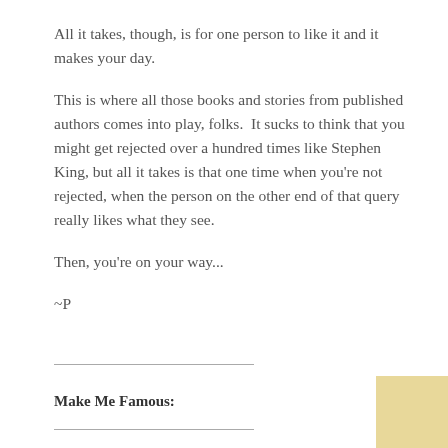All it takes, though, is for one person to like it and it makes your day.
This is where all those books and stories from published authors comes into play, folks.  It sucks to think that you might get rejected over a hundred times like Stephen King, but all it takes is that one time when you're not rejected, when the person on the other end of that query really likes what they see.
Then, you're on your way...
~P
Make Me Famous: